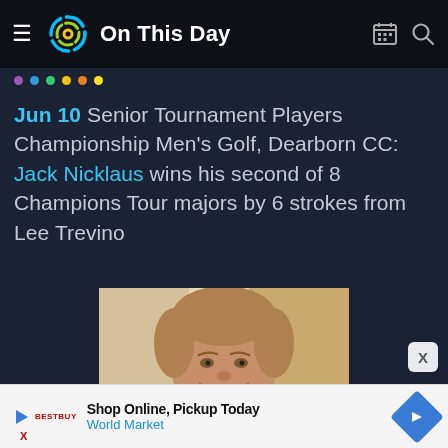On This Day
Jun 10 Senior Tournament Players Championship Men's Golf, Dearborn CC: Jack Nicklaus wins his second of 8 Champions Tour majors by 6 strokes from Lee Trevino
[Figure (photo): Older man smiling, wearing a suit with a patterned tie and a medal around his neck, in an indoor formal setting]
Shop Online, Pickup Today
World Market